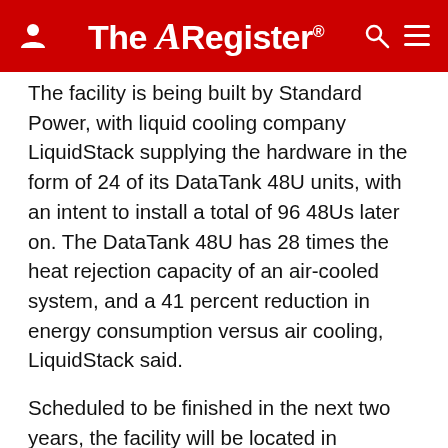The Register
The facility is being built by Standard Power, with liquid cooling company LiquidStack supplying the hardware in the form of 24 of its DataTank 48U units, with an intent to install a total of 96 48Us later on. The DataTank 48U has 28 times the heat rejection capacity of an air-cooled system, and a 41 percent reduction in energy consumption versus air cooling, LiquidStack said.
Scheduled to be finished in the next two years, the facility will be located in Coshocton, Ohio, which sits between Columbus and Akron. In total the new datacenter will be able to scale up to 52 MW, 12 of which will be liquid cooled by LiquidStack's systems, while the remaining 40 MW of capacity will be air cooled.